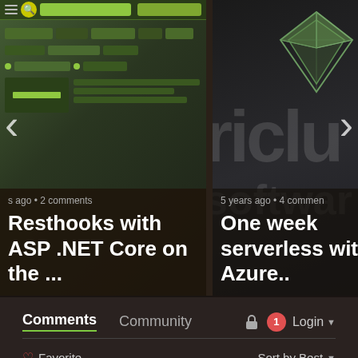[Figure (screenshot): Blog post carousel showing two article cards. Left card: 'Resthooks with ASP .NET Core on the ...' with metadata '5 ago • 2 comments'. Right card: 'One week serverless with Azure..' with metadata '5 years ago • 4 commen'. Navigation arrows on left and right sides.]
Comments
Community
Login
♡ Favorite
Sort by Best
Start the discussion…
LOG IN WITH